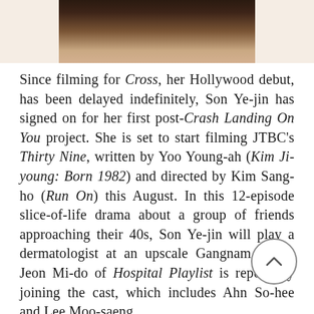[Figure (photo): Cropped photo of a person, showing hair and upper body, with white space on either side]
Since filming for Cross, her Hollywood debut, has been delayed indefinitely, Son Ye-jin has signed on for her first post-Crash Landing On You project. She is set to start filming JTBC's Thirty Nine, written by Yoo Young-ah (Kim Ji-young: Born 1982) and directed by Kim Sang-ho (Run On) this August. In this 12-episode slice-of-life drama about a group of friends approaching their 40s, Son Ye-jin will play a dermatologist at an upscale Gangnam clinic. Jeon Mi-do of Hospital Playlist is reportedly joining the cast, which includes Ahn So-hee and Lee Moo-saeng.